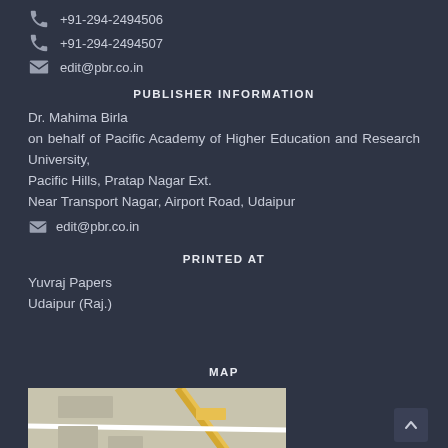+91-294-2494506
+91-294-2494507
edit@pbr.co.in
PUBLISHER INFORMATION
Dr. Mahima Birla
on behalf of Pacific Academy of Higher Education and Research University,
Pacific Hills, Pratap Nagar Ext.
Near Transport Nagar, Airport Road, Udaipur
edit@pbr.co.in
PRINTED AT
Yuvraj Papers
Udaipur (Raj.)
MAP
[Figure (map): Partial map showing roads near Pacific Hills, Pratap Nagar Ext., Udaipur area]